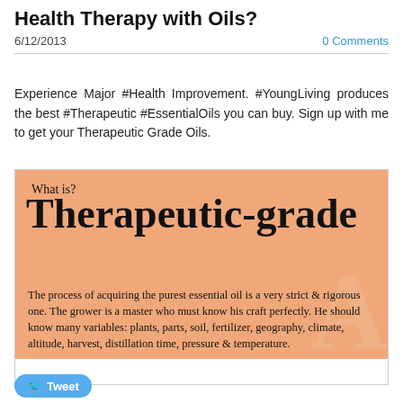Health Therapy with Oils?
6/12/2013
0 Comments
Experience Major #Health Improvement. #YoungLiving produces the best #Therapeutic #EssentialOils you can buy. Sign up with me to get your Therapeutic Grade Oils.
[Figure (infographic): Orange/peach infographic with serif text reading 'What is? Therapeutic-grade' in large bold font, with body text: 'The process of acquiring the purest essential oil is a very strict & rigorous one. The grower is a master who must know his craft perfectly. He should know many variables: plants, parts, soil, fertilizer, geography, climate, altitude, harvest, distillation time, pressure & temperature.' A large watermark letter 'A' appears in the background.]
Tweet